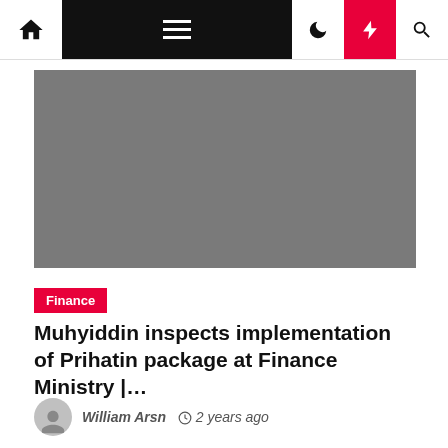Navigation bar with home, menu, dark mode, lightning, and search icons
[Figure (photo): Gray placeholder image for article hero photo]
Finance
Muhyiddin inspects implementation of Prihatin package at Finance Ministry |…
William Arsn  2 years ago